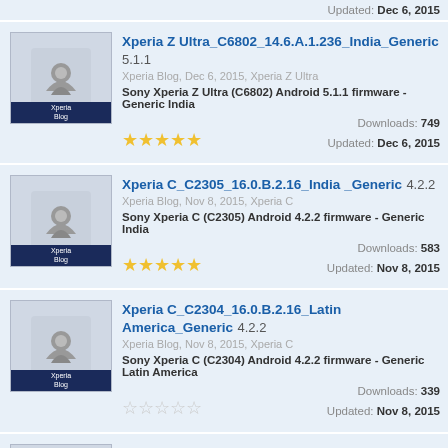Updated: Dec 6, 2015
Xperia Z Ultra_C6802_14.6.A.1.236_India_Generic 5.1.1 - Xperia Blog, Dec 6, 2015, Xperia Z Ultra. Sony Xperia Z Ultra (C6802) Android 5.1.1 firmware - Generic India. Downloads: 749. Updated: Dec 6, 2015.
Xperia C_C2305_16.0.B.2.16_India _Generic 4.2.2 - Xperia Blog, Nov 8, 2015, Xperia C. Sony Xperia C (C2305) Android 4.2.2 firmware - Generic India. Downloads: 583. Updated: Nov 8, 2015.
Xperia C_C2304_16.0.B.2.16_Latin America_Generic 4.2.2 - Xperia Blog, Nov 8, 2015, Xperia C. Sony Xperia C (C2304) Android 4.2.2 firmware - Generic Latin America. Downloads: 339. Updated: Nov 8, 2015.
Xperia Z1_C6943_14.6.A.0.368_Brazil_Generic 5.1.1